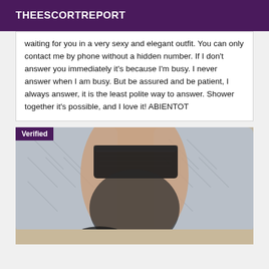THEESCORTREPORT
waiting for you in a very sexy and elegant outfit. You can only contact me by phone without a hidden number. If I don't answer you immediately it's because I'm busy. I never answer when I am busy. But be assured and be patient, I always answer, it is the least polite way to answer. Shower together it's possible, and I love it! ABIENTOT
[Figure (photo): Photo showing legs with black lace stockings on a couch with grey patterned pillows, with a purple 'Verified' badge in the top-left corner]